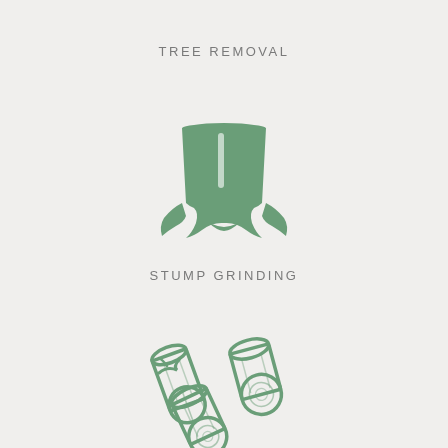TREE REMOVAL
[Figure (illustration): Green silhouette icon of a tree stump with root flares spreading at the base and a white highlight mark on the trunk]
STUMP GRINDING
[Figure (illustration): Green outline icon of three cut logs stacked together with a small branch twig, showing circular wood grain rings on the log ends]